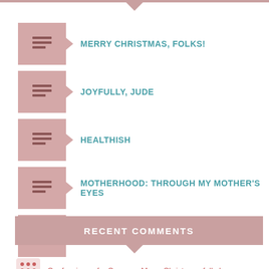MERRY CHRISTMAS, FOLKS!
JOYFULLY, JUDE
HEALTHISH
MOTHERHOOD: THROUGH MY MOTHER'S EYES
SPRING FORWARD
RECENT COMMENTS
Confessions of a Cor… on Merry Christmas, folks!